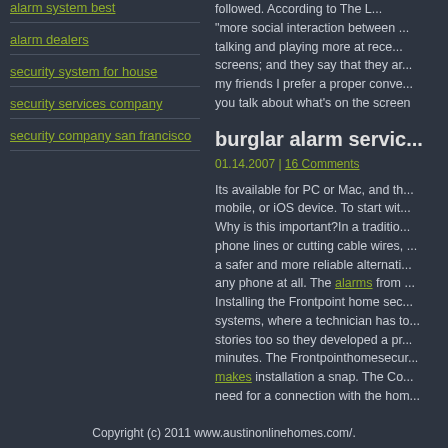followed. According to The L... "more social interaction between ... talking and playing more at rece... screens; and they say that they ar... my friends I prefer a proper conve... you talk about what's on the screen
alarm system best
alarm dealers
security system for house
security services company
security company san francisco
burglar alarm servic...
01.14.2007 | 16 Comments
Its available for PC or Mac, and th... mobile, or iOS device. To start wit... Why is this important?In a traditio... phone lines or cutting cable wires, ... a safer and more reliable alternati... any phone at all. The alarms from ... Installing the Frontpoint home sec... systems, where a technician has to... stories too so they developed a pr... minutes. The Frontpointhomesecur... makes installation a snap. The Co... need for a connection with the hom...
Copyright (c) 2011 www.austinonlinehomes.com/.